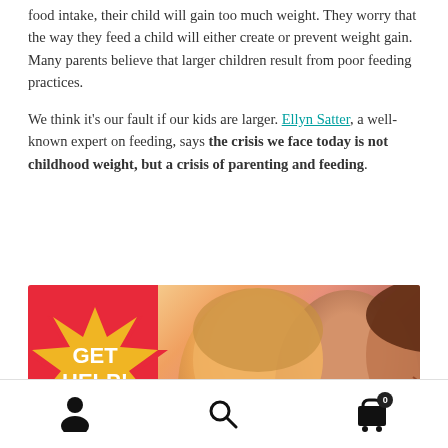Parents believe that if they don't control their children's food intake, their child will gain too much weight. They worry that the way they feed a child will either create or prevent weight gain. Many parents believe that larger children result from poor feeding practices.
We think it's our fault if our kids are larger. Ellyn Satter, a well-known expert on feeding, says the crisis we face today is not childhood weight, but a crisis of parenting and feeding.
[Figure (photo): Promotional banner with 'GET HELP!' text on a yellow starburst over red background, with two smiling women (one blonde, one with dark hair) photographed together]
Navigation toolbar with person icon, search icon, and shopping cart icon with badge showing 0